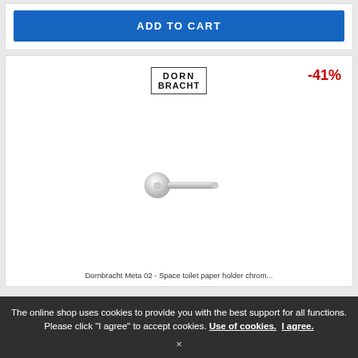ADD TO CART
[Figure (logo): Dornbracht brand logo — rectangular border with 'DORN' on top line and 'BRACHT' on bottom line in bold letters]
-41%
[Figure (photo): Dornbracht Meta 02 chrome toilet paper holder — small chrome round wall-mount base with horizontal bar arm extending to the right]
Dornbracht Meta 02 - Space toilet paper holder chrom...
The online shop uses cookies to provide you with the best support for all functions. Please click "I agree" to accept cookies. Use of cookies.  I agree.
×
DKK 1,326.02
DKK ...